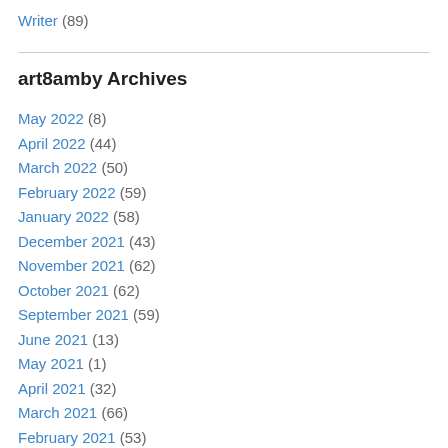Writer (89)
art8amby Archives
May 2022 (8)
April 2022 (44)
March 2022 (50)
February 2022 (59)
January 2022 (58)
December 2021 (43)
November 2021 (62)
October 2021 (62)
September 2021 (59)
June 2021 (13)
May 2021 (1)
April 2021 (32)
March 2021 (66)
February 2021 (53)
January 2021 (53)